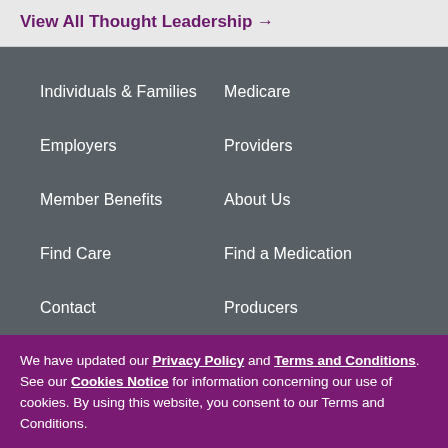View All Thought Leadership →
Individuals & Families
Medicare
Employers
Providers
Member Benefits
About Us
Find Care
Find a Medication
Contact
Producers
We have updated our Privacy Policy and Terms and Conditions. See our Cookies Notice for information concerning our use of cookies. By using this website, you consent to our Terms and Conditions.
✕ Close